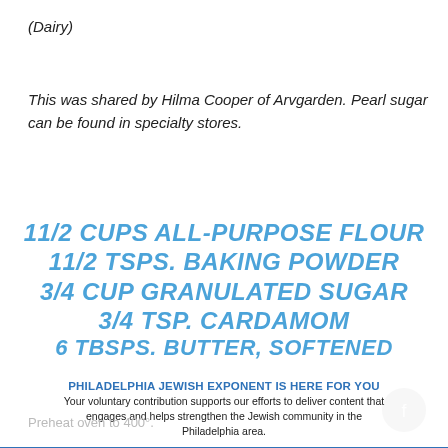(Dairy)
This was shared by Hilma Cooper of Arvgarden. Pearl sugar can be found in specialty stores.
11/2 CUPS ALL-PURPOSE FLOUR
11/2 TSPS. BAKING POWDER
3/4 CUP GRANULATED SUGAR
3/4 TSP. CARDAMOM
6 TBSPS. BUTTER, SOFTENED
PHILADELPHIA JEWISH EXPONENT IS HERE FOR YOU
Your voluntary contribution supports our efforts to deliver content that engages and helps strengthen the Jewish community in the Philadelphia area.
CONTRIBUTE
Preheat oven to 400°.